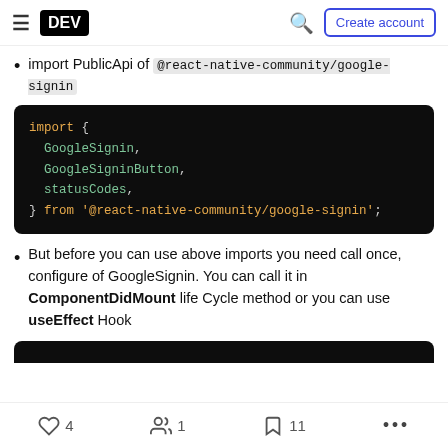DEV | Create account
import PublicApi of @react-native-community/google-signin
[Figure (screenshot): Dark code block showing: import { GoogleSignin, GoogleSigninButton, statusCodes, } from '@react-native-community/google-signin';]
But before you can use above imports you need call once, configure of GoogleSignin. You can call it in ComponentDidMount life Cycle method or you can use useEffect Hook
4  1  11  ...